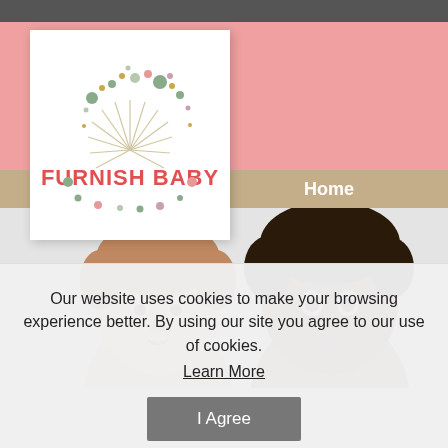[Figure (logo): Furnish Baby logo with starburst and colorful dots, text reads FURNISH BABY in coral/red]
Home
[Figure (photo): Two babies side by side on light grey background]
Our website uses cookies to make your browsing experience better. By using our site you agree to our use of cookies. Learn More
I Agree